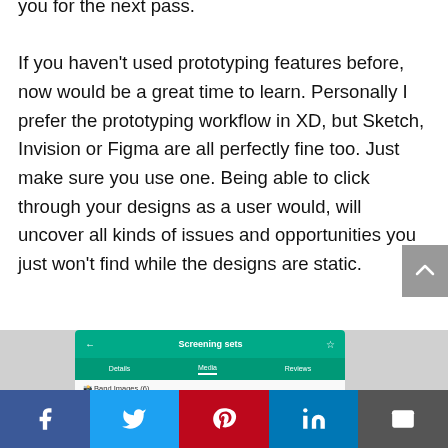you for the next pass. If you haven't used prototyping features before, now would be a great time to learn. Personally I prefer the prototyping workflow in XD, but Sketch, Invision or Figma are all perfectly fine too. Just make sure you use one. Being able to click through your designs as a user would, will uncover all kinds of issues and opportunities you just won't find while the designs are static.
[Figure (screenshot): A mobile app screenshot showing an interface with a teal navigation bar labeled 'Screening sets', with tabs for Details, Media, and Reviews. The Media tab is active. Below shows 'Band Images (6)'.]
[Figure (infographic): Social sharing bar with five buttons: Facebook (blue), Twitter (light blue), Pinterest (red), LinkedIn (blue), Email (dark grey)]